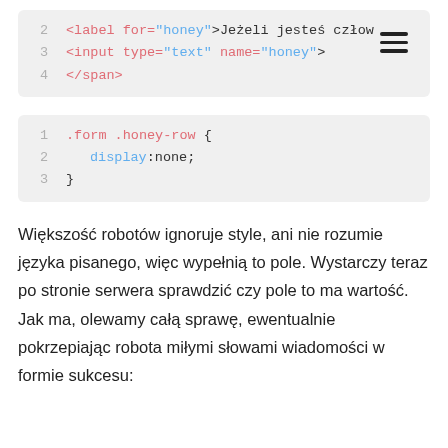[Figure (screenshot): Code block showing HTML: line 2: <label for="honey">Jeżeli jesteś człow, line 3: <input type="text" name="honey">, line 4: </span>. A hamburger menu icon appears in the top-right.]
[Figure (screenshot): Code block showing CSS: line 1: .form .honey-row {, line 2: display:none;, line 3: }]
Większość robotów ignoruje style, ani nie rozumie języka pisanego, więc wypełnią to pole. Wystarczy teraz po stronie serwera sprawdzić czy pole to ma wartość. Jak ma, olewamy całą sprawę, ewentualnie pokrzepiając robota miłymi słowami wiadomości w formie sukcesu: